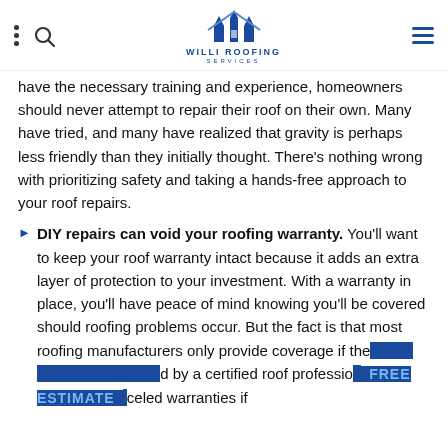Willi Roofing Services
have the necessary training and experience, homeowners should never attempt to repair their roof on their own. Many have tried, and many have realized that gravity is perhaps less friendly than they initially thought. There's nothing wrong with prioritizing safety and taking a hands-free approach to your roof repairs.
DIY repairs can void your roofing warranty. You'll want to keep your roof warranty intact because it adds an extra layer of protection to your investment. With a warranty in place, you'll have peace of mind knowing you'll be covered should roofing problems occur. But the fact is that most roofing manufacturers only provide coverage if the repair work is performed by a certified roof professional… canceled warranties if
FREE ESTIMATE